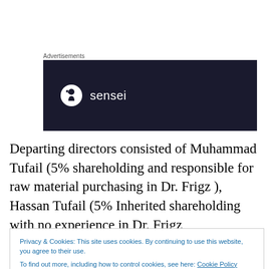Advertisements
[Figure (logo): Sensei logo on dark navy background with tree/person icon in a circle]
Departing directors consisted of Muhammad Tufail (5% shareholding and responsible for raw material purchasing in Dr. Frigz ), Hassan Tufail (5% Inherited shareholding with no experience in Dr. Frigz International), Bilal Faiz
Privacy & Cookies: This site uses cookies. By continuing to use this website, you agree to their use.
To find out more, including how to control cookies, see here: Cookie Policy
[Close and accept]
In fact, two of the departing directors had no experience or